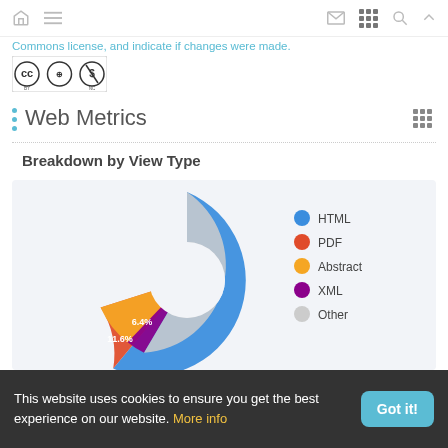[navigation icons: home, menu, mail, grid, search, up]
Commons license, and indicate if changes were made.
[Figure (logo): Creative Commons BY NC license badge]
Web Metrics
[Figure (donut-chart): Breakdown by View Type]
This website uses cookies to ensure you get the best experience on our website. More info